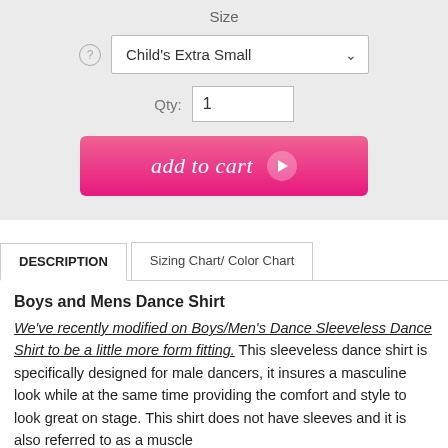Size
Child's Extra Small
Qty: 1
[Figure (other): Pink 'add to cart' button with play arrow icon]
DESCRIPTION | Sizing Chart/ Color Chart
Boys and Mens Dance Shirt
We've recently modified on Boys/Men's Dance Sleeveless Dance Shirt to be a little more form fitting. This sleeveless dance shirt is specifically designed for male dancers, it insures a masculine look while at the same time providing the comfort and style to look great on stage. This shirt does not have sleeves and it is also referred to as a muscle